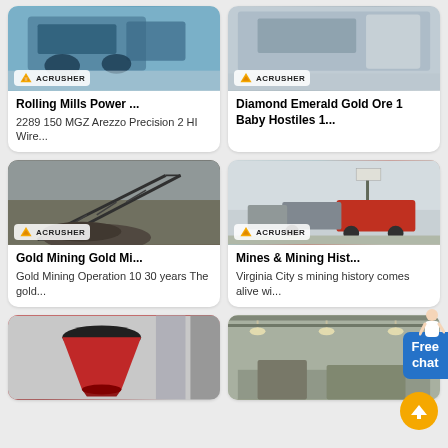[Figure (photo): Industrial machinery with ACRUSHER logo, top-left card]
Rolling Mills Power ...
2289 150 MGZ Arezzo Precision 2 HI Wire...
[Figure (photo): Gray industrial equipment with ACRUSHER logo, top-right card]
Diamond Emerald Gold Ore 1 Baby Hostiles 1...
[Figure (photo): Construction/mining site with conveyor and rock pile, ACRUSHER logo, middle-left card]
Gold Mining Gold Mi...
Gold Mining Operation 10 30 years The gold...
[Figure (photo): Red trucks and mining equipment outdoors, ACRUSHER logo, middle-right card]
Mines & Mining Hist...
Virginia City s mining history comes alive wi...
[Figure (photo): Red cone crusher machinery, bottom-left card]
[Figure (photo): Industrial warehouse interior, bottom-right card]